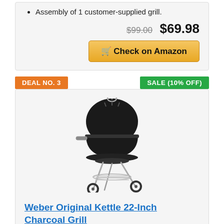Assembly of 1 customer-supplied grill.
$99.00  $69.98
Check on Amazon
DEAL NO. 3
SALE (10% OFF)
[Figure (photo): Black Weber Original Kettle 22-Inch Charcoal Grill on three legs with wheels and a lower shelf]
Weber Original Kettle 22-Inch Charcoal Grill
Stay true to the modern version of the
kettle that started it all, the Original